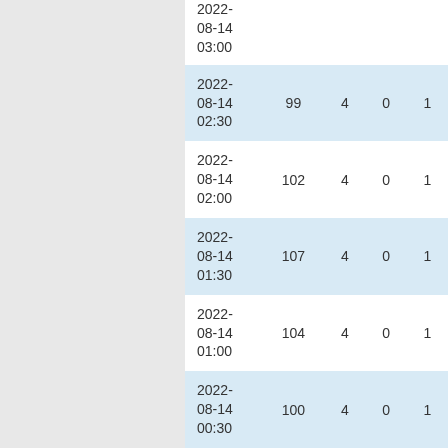| datetime | col1 | col2 | col3 | col4 |
| --- | --- | --- | --- | --- |
| 2022-08-14 03:00 |  |  |  |  |
| 2022-08-14 02:30 | 99 | 4 | 0 | 1 |
| 2022-08-14 02:00 | 102 | 4 | 0 | 1 |
| 2022-08-14 01:30 | 107 | 4 | 0 | 1 |
| 2022-08-14 01:00 | 104 | 4 | 0 | 1 |
| 2022-08-14 00:30 | 100 | 4 | 0 | 1 |
| 2022-08-14 ... | 97 | 4 | 0 | 1 |